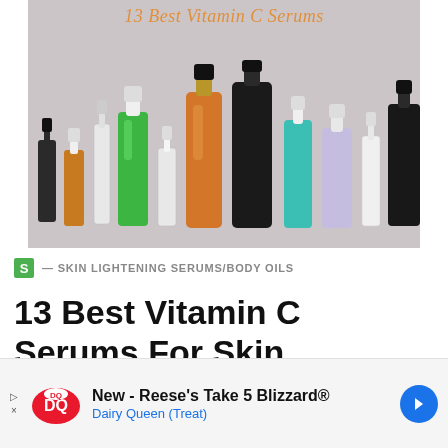[Figure (photo): Photo of multiple vitamin C serum bottles of various colors (amber, green, clear, orange, dark brown, teal, lavender, white, black) arranged on a gray background, with italic orange text overlay reading '13 Best Vitamin C Serums']
S — SKIN LIGHTENING SERUMS/BODY OILS
13 Best Vitamin C Serums For Skin Brightening & Anti-
[Figure (infographic): Advertisement banner: Dairy Queen ad. DQ logo (red oval with DQ letters), text 'New - Reese's Take 5 Blizzard®' and 'Dairy Queen (Treat)', blue navigation arrow button on right. Left side has small triangle/arrow expand icons.]